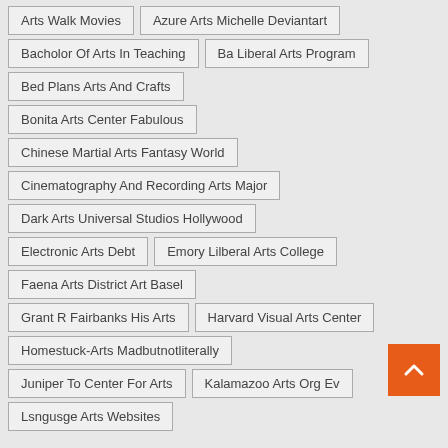Arts Walk Movies
Azure Arts Michelle Deviantart
Bacholor Of Arts In Teaching
Ba Liberal Arts Program
Bed Plans Arts And Crafts
Bonita Arts Center Fabulous
Chinese Martial Arts Fantasy World
Cinematography And Recording Arts Major
Dark Arts Universal Studios Hollywood
Electronic Arts Debt
Emory Lilberal Arts College
Faena Arts District Art Basel
Grant R Fairbanks His Arts
Harvard Visual Arts Center
Homestuck-Arts Madbutnotliterally
Juniper To Center For Arts
Kalamazoo Arts Org Ev
Lsngusge Arts Websites